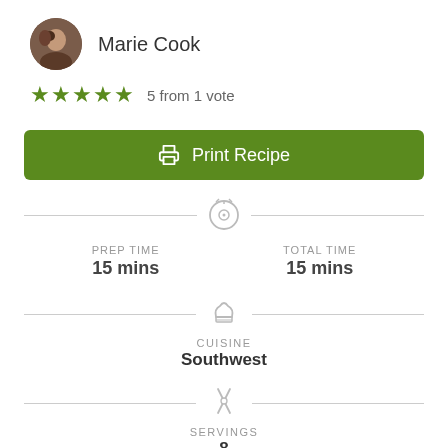[Figure (photo): Circular avatar photo of Marie Cook]
Marie Cook
5 from 1 vote
Print Recipe
PREP TIME
15 mins
TOTAL TIME
15 mins
CUISINE
Southwest
SERVINGS
8